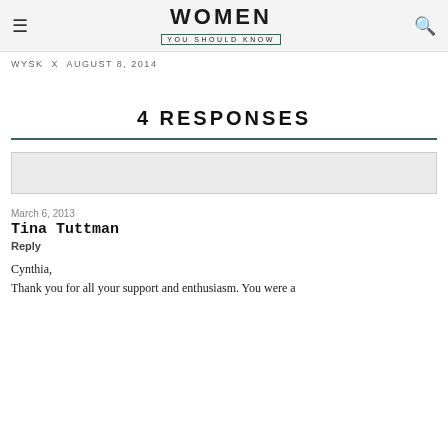WOMEN YOU SHOULD KNOW
WYSK x AUGUST 8, 2014
4 RESPONSES
[Figure (other): Empty gray comment input box]
March 6, 2013
Tina Tuttman
Reply
Cynthia,
Thank you for all your support and enthusiasm. You were a